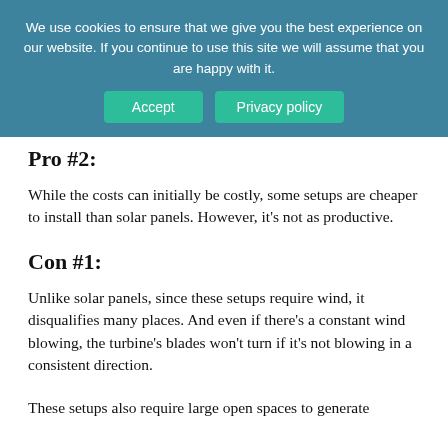We use cookies to ensure that we give you the best experience on our website. If you continue to use this site we will assume that you are happy with it.
Pro #2:
While the costs can initially be costly, some setups are cheaper to install than solar panels. However, it’s not as productive.
Con #1:
Unlike solar panels, since these setups require wind, it disqualifies many places. And even if there’s a constant wind blowing, the turbine’s blades won’t turn if it’s not blowing in a consistent direction.
These setups also require large open spaces to generate